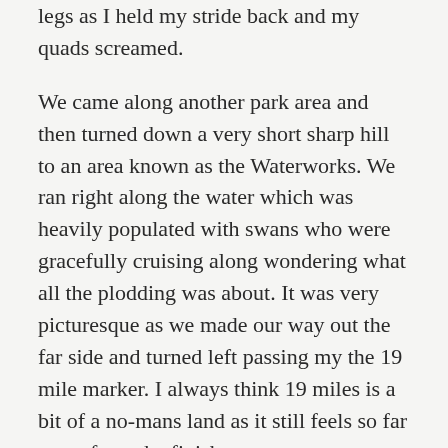legs as I held my stride back and my quads screamed.
We came along another park area and then turned down a very short sharp hill to an area known as the Waterworks. We ran right along the water which was heavily populated with swans who were gracefully cruising along wondering what all the plodding was about. It was very picturesque as we made our way out the far side and turned left passing my the 19 mile marker. I always think 19 miles is a bit of a no-mans land as it still feels so far away from the finish.
It was now time to start marathon running! I concentrated on keeping my momentum going as we moved back in towards town with lots of little turns here and there at various junctions. It was much harder